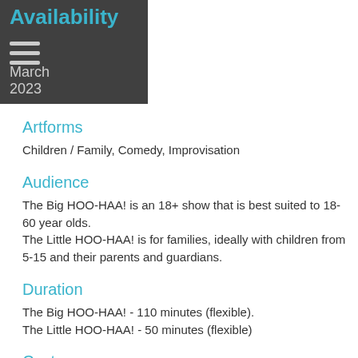Availability March 2023
Artforms
Children / Family, Comedy, Improvisation
Audience
The Big HOO-HAA! is an 18+ show that is best suited to 18- 60 year olds.
The Little HOO-HAA! is for families, ideally with children from 5-15 and their parents and guardians.
Duration
The Big HOO-HAA! - 110 minutes (flexible).
The Little HOO-HAA! - 50 minutes (flexible)
Costs
$2,500 per show